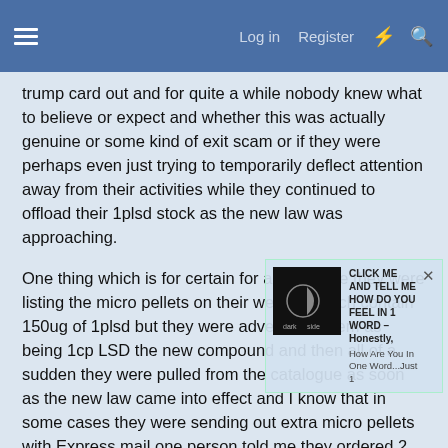Log in  Register
trump card out and for quite a while nobody knew what to believe or expect and whether this was actually genuine or some kind of exit scam or if they were perhaps even just trying to temporarily deflect attention away from their activities while they continued to offload their 1plsd stock as the new law was approaching.
One thing which is for certain for a little while they were listing the micro pellets on their website which contain 150ug of 1plsd but they were advertising them as being 1cp LSD the new compound and then all of a sudden they were pulled from the catalogue as soon as the new law came into effect and I know that in some cases they were sending out extra micro pellets with Express mail one person told me they ordered 2 and received 10.
So they were certainly knowingly mislabelling the 1plsd micro pellets as 1cp LSD but everything else appears to be legitimate and true and the new compound is now and circulation and I
[Figure (screenshot): Popup ad with dark side logo image and text: CLICK ME AND TELL ME HOW DO YOU FEEL IN 1 WORD -- Honestly, How Are You In One Word...Just 1]